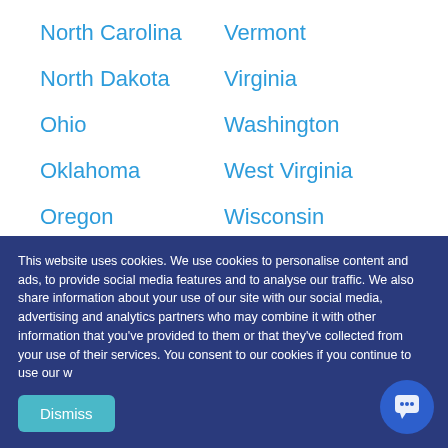North Carolina
Vermont
North Dakota
Virginia
Ohio
Washington
Oklahoma
West Virginia
Oregon
Wisconsin
Pennsylvania
Wyoming
Easily Earn Your License to Fundraise
This website uses cookies. We use cookies to personalise content and ads, to provide social media features and to analyse our traffic. We also share information about your use of our site with our social media, advertising and analytics partners who may combine it with other information that you've provided to them or that they've collected from your use of their services. You consent to our cookies if you continue to use our w